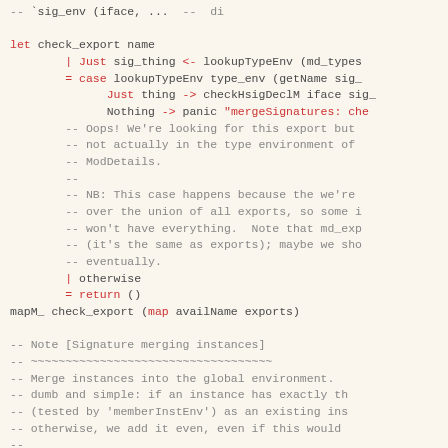[Figure (screenshot): Haskell source code snippet showing check_export function and comments about signature merging instances]